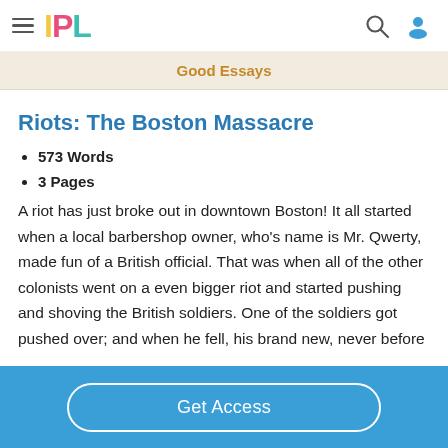IPL
Good Essays
Riots: The Boston Massacre
573 Words
3 Pages
A riot has just broke out in downtown Boston! It all started when a local barbershop owner, who’s name is Mr. Qwerty, made fun of a British official. That was when all of the other colonists went on a even bigger riot and started pushing and shoving the British soldiers. One of the soldiers got pushed over; and when he fell, his brand new, never before
Get Access